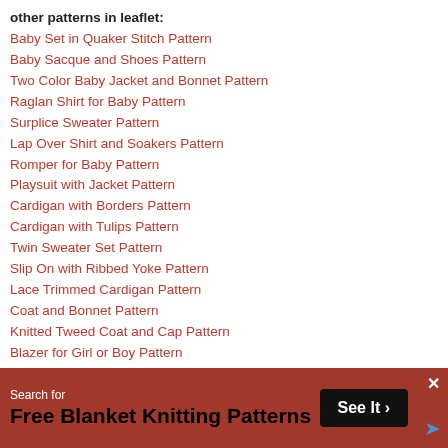other patterns in leaflet:
Baby Set in Quaker Stitch Pattern
Baby Sacque and Shoes Pattern
Two Color Baby Jacket and Bonnet Pattern
Raglan Shirt for Baby Pattern
Surplice Sweater Pattern
Lap Over Shirt and Soakers Pattern
Romper for Baby Pattern
Playsuit with Jacket Pattern
Cardigan with Borders Pattern
Cardigan with Tulips Pattern
Twin Sweater Set Pattern
Slip On with Ribbed Yoke Pattern
Lace Trimmed Cardigan Pattern
Coat and Bonnet Pattern
Knitted Tweed Coat and Cap Pattern
Blazer for Girl or Boy Pattern
Striped Blazer Pattern
Helmet with Mittens Pattern
[Figure (infographic): Advertisement banner: Search for Free Blanket Knitting Patterns, See It button, close X, ad logo]